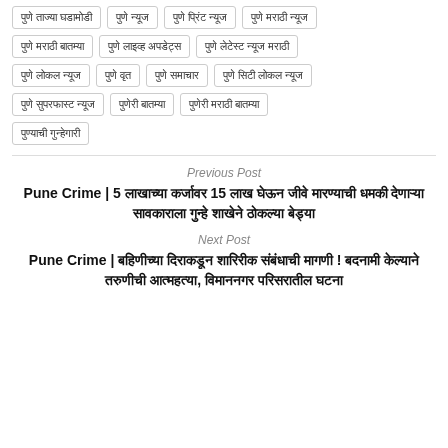पुणे ताज्या घडामोडी
पुणे न्यूज
पुणे प्रिंट न्यूज
पुणे मराठी न्यूज
पुणे मराठी बातम्या
पुणे लाइव्ह अपडेट्स
पुणे लेटेस्ट न्यूज मराठी
पुणे लोकल न्यूज
पुणे वृत
पुणे समाचार
पुणे सिटी लोकल न्यूज
पुणे सुपरफास्ट न्यूज
पुणेरी बातम्या
पुणेरी मराठी बातम्या
पुण्याची गुन्हेगारी
Previous Post
Pune Crime | 5 लाखाच्या कर्जावर 15 लाख घेऊन जीवे मारण्याची धमकी देणाऱ्या सावकाराला गुन्हे शाखेने ठोकल्या बेड्या
Next Post
Pune Crime | बहिणीच्या दिराकडून शारिरीक संबंधाची मागणी ! बदनामी केल्याने तरुणीची आत्महत्या, विमाननगर परिसरातील घटना